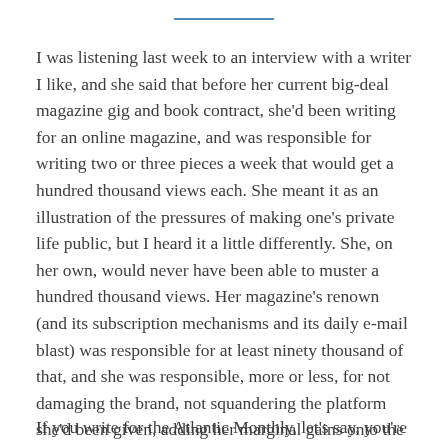I was listening last week to an interview with a writer I like, and she said that before her current big-deal magazine gig and book contract, she'd been writing for an online magazine, and was responsible for writing two or three pieces a week that would get a hundred thousand views each. She meant it as an illustration of the pressures of making one's private life public, but I heard it a little differently. She, on her own, would never have been able to muster a hundred thousand views. Her magazine's renown (and its subscription mechanisms and its daily e-mail blast) was responsible for at least ninety thousand of that, and she was responsible, more or less, for not damaging the brand, not squandering the platform she'd been given, adding her marginal gains onto the established endowment.
If you write for the Atlantic Monthly, let's say, you're